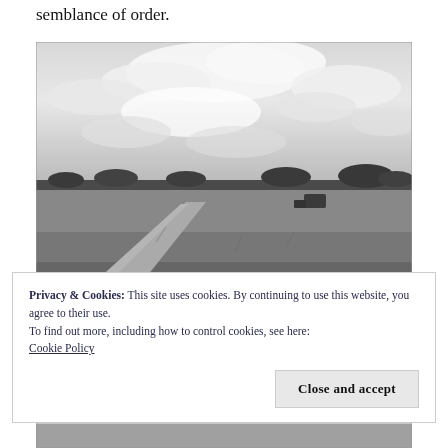semblance of order.
[Figure (photo): Black and white landscape photograph showing an open field with a dirt path winding through tall grass, a line of trees at the horizon, and a dramatic cloudy sky above.]
Privacy & Cookies: This site uses cookies. By continuing to use this website, you agree to their use.
To find out more, including how to control cookies, see here:
Cookie Policy
[Figure (photo): Partial black and white landscape photo visible at the very bottom of the page, similar to the main photo above.]